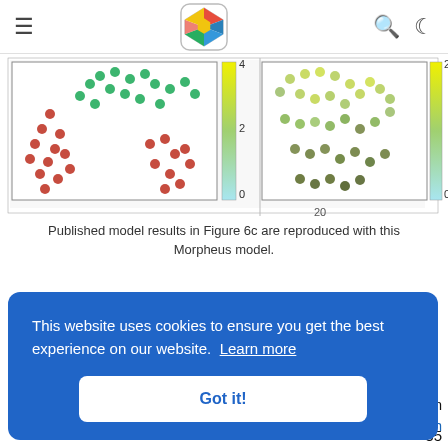≡  [Morpheus logo]  🔍 🌙
[Figure (screenshot): Scientific figure showing scatter plots of cell simulations with red, green, and yellow-green colored dots arranged in patterns, with color scale bars showing values 0-4 and 0-2. Two panels side by side showing model results.]
Published model results in Figure 6c are reproduced with this Morpheus model.
Reference
This model is the original used in the publication, up to technical updates:
This website uses cookies to ensure you get the best experience on our website. Learn more
Got it!